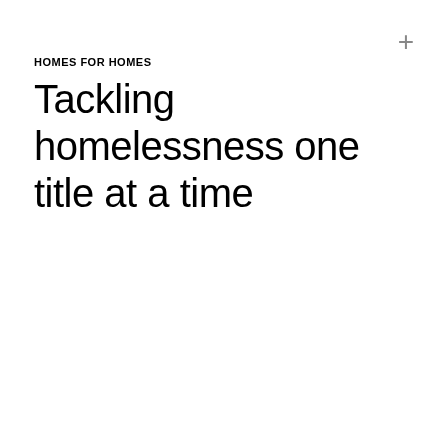HOMES FOR HOMES
Tackling homelessness one title at a time